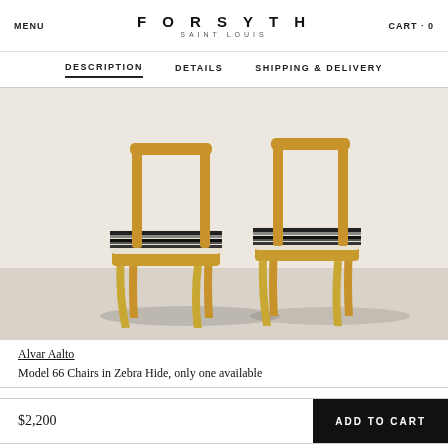MENU   FORSYTH SAINT LOUIS   CART · 0
DESCRIPTION   DETAILS   SHIPPING & DELIVERY
[Figure (photo): Two Alvar Aalto Model 66 chairs with birch bentwood frames and black-and-white zebra hide upholstered seats, photographed against a light background.]
Alvar Aalto
Model 66 Chairs in Zebra Hide, only one available
$2,200
ADD TO CART